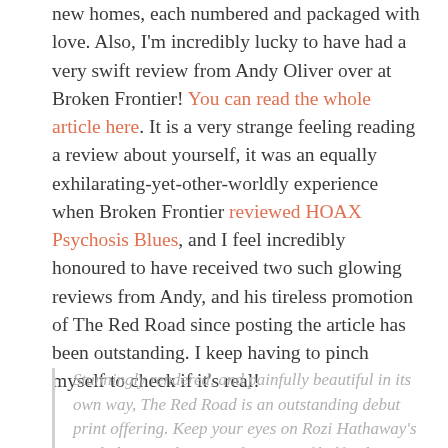new homes, each numbered and packaged with love. Also, I'm incredibly lucky to have had a very swift review from Andy Oliver over at Broken Frontier! You can read the whole article here. It is a very strange feeling reading a review about yourself, it was an equally exhilarating-yet-other-worldly experience when Broken Frontier reviewed HOAX Psychosis Blues, and I feel incredibly honoured to have received two such glowing reviews from Andy, and his tireless promotion of The Red Road since posting the article has been outstanding. I keep having to pinch myself to check if it's real!
Stunningly rendered, and painfully beautiful in its own way, The Red Road is an outstanding debut print offering. Keep your eyes on Rozi Hathaway's work this year because she's one of half a dozen or so names I